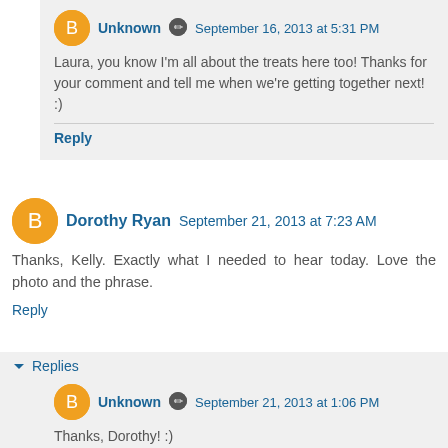Unknown · September 16, 2013 at 5:31 PM — Laura, you know I'm all about the treats here too! Thanks for your comment and tell me when we're getting together next! :)
Reply
Dorothy Ryan — September 21, 2013 at 7:23 AM — Thanks, Kelly. Exactly what I needed to hear today. Love the photo and the phrase.
Reply
▾ Replies
Unknown · September 21, 2013 at 1:06 PM — Thanks, Dorothy! :)
Reply